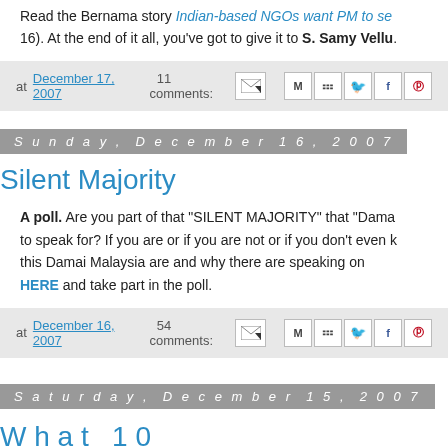Read the Bernama story Indian-based NGOs want PM to se… 16). At the end of it all, you've got to give it to S. Samy Vellu.
at December 17, 2007   11 comments:
Sunday, December 16, 2007
Silent Majority
A poll. Are you part of that "SILENT MAJORITY" that "Dama… to speak for? If you are or if you are not or if you don't even k… this Damai Malaysia are and why there are speaking on… HERE and take part in the poll.
at December 16, 2007   54 comments:
Saturday, December 15, 2007